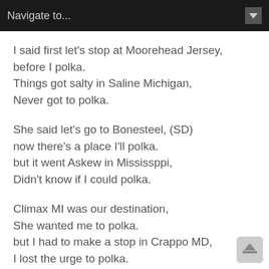Navigate to...
I said first let's stop at Moorehead Jersey,
before I polka.
Things got salty in Saline Michigan,
Never got to polka.
She said let's go to Bonesteel, (SD)
now there's a place I'll polka.
but it went Askew in Mississppi,
Didn't know if I could polka.
Climax MI was our destination,
She wanted me to polka.
but I had to make a stop in Crappo MD,
I lost the urge to polka.